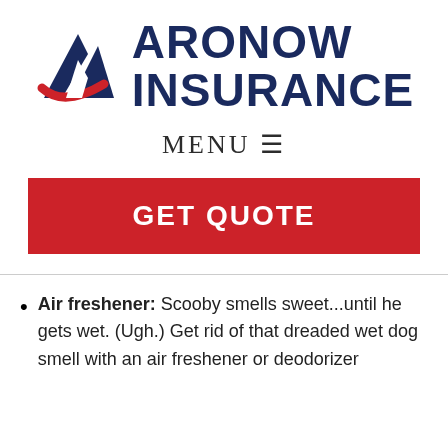[Figure (logo): Aronow Insurance logo with mountain/arrow icon in navy and red, and bold navy text reading ARONOW INSURANCE]
MENU ☰
GET QUOTE
Air freshener: Scooby smells sweet...until he gets wet. (Ugh.) Get rid of that dreaded wet dog smell with an air freshener or deodorizer